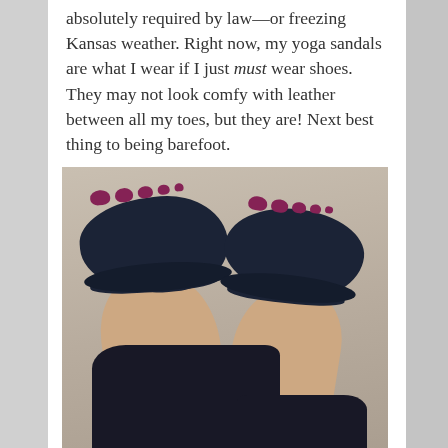absolutely required by law—or freezing Kansas weather. Right now, my yoga sandals are what I wear if I just must wear shoes. They may not look comfy with leather between all my toes, but they are! Next best thing to being barefoot.
[Figure (photo): Close-up photo of two feet wearing dark navy blue yoga sandals with leather toe separators, toenails painted dark pink/mauve, resting on a light carpet background, with dark pants/leggings visible at the bottom.]